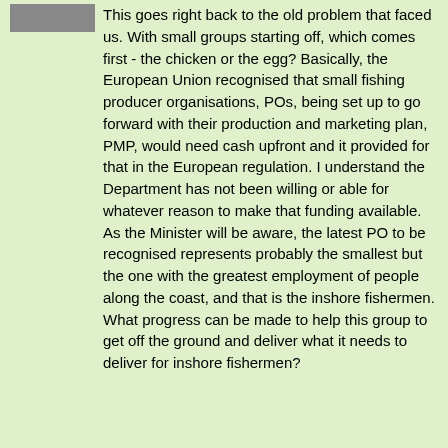This goes right back to the old problem that faced us. With small groups starting off, which comes first - the chicken or the egg? Basically, the European Union recognised that small fishing producer organisations, POs, being set up to go forward with their production and marketing plan, PMP, would need cash upfront and it provided for that in the European regulation. I understand the Department has not been willing or able for whatever reason to make that funding available. As the Minister will be aware, the latest PO to be recognised represents probably the smallest but the one with the greatest employment of people along the coast, and that is the inshore fishermen. What progress can be made to help this group to get off the ground and deliver what it needs to deliver for inshore fishermen?
Charlie McConalogue (Donegal, Fianna Fail)
Link to this: Individually | In context | Oireachtas source
I thank the Deputy for raising this.
The Department's European Maritime and Fisheries Fund, EMFF, programme is the principal source of funding for the sustainable development of our seafood sector. At this stage, the programme funds are mostly committed and the programme is nearing its end. The new European Maritime Fisheries and Aquaculture Fund Regulation was adopted in July of last year and work is well advanced on preparing the Department's new seafood development programme, which will bring us up to 2027. I anticipate adoption of that programme later this year.